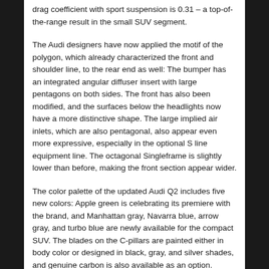drag coefficient with sport suspension is 0.31 – a top-of-the-range result in the small SUV segment.
The Audi designers have now applied the motif of the polygon, which already characterized the front and shoulder line, to the rear end as well: The bumper has an integrated angular diffuser insert with large pentagons on both sides. The front has also been modified, and the surfaces below the headlights now have a more distinctive shape. The large implied air inlets, which are also pentagonal, also appear even more expressive, especially in the optional S line equipment line. The octagonal Singleframe is slightly lower than before, making the front section appear wider.
The color palette of the updated Audi Q2 includes five new colors: Apple green is celebrating its premiere with the brand, and Manhattan gray, Navarra blue, arrow gray, and turbo blue are newly available for the compact SUV. The blades on the C-pillars are painted either in body color or designed in black, gray, and silver shades, and genuine carbon is also available as an option.